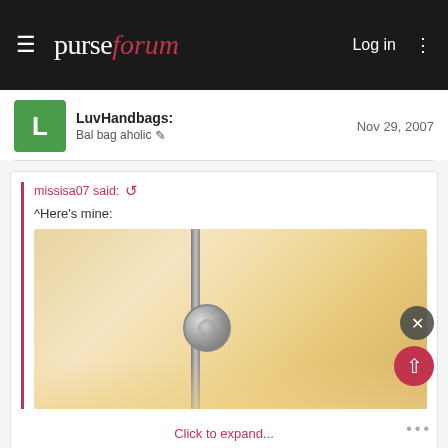purseforum   Log in
LuvHandbags: Bal bag aholic   Nov 29, 2007
missisa07 said: ^Here's mine:
[Figure (photo): Close-up photo of a handbag hardware piece (clasp/lock) against a warm golden/beige background]
Click to expand...
Alright! This looks just like it, but they told me it didn't come a smaller size. Mine was $2,750. Does that sound right to you?